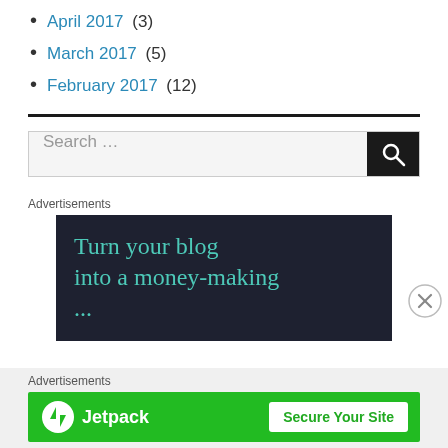April 2017 (3)
March 2017 (5)
February 2017 (12)
Search ...
[Figure (screenshot): Advertisement banner with dark background reading 'Turn your blog into a money-making ...']
[Figure (screenshot): Jetpack advertisement banner with green background, Jetpack logo and 'Secure Your Site' button]